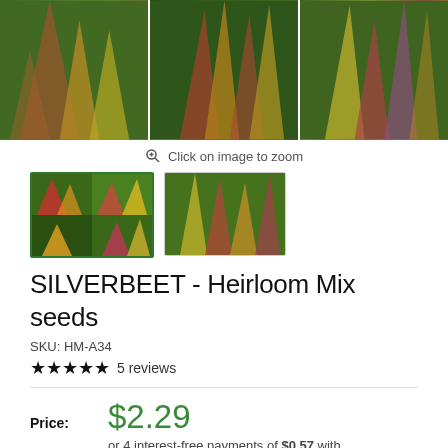[Figure (photo): Three panel image of colorful silverbeet/rainbow chard plants with vibrant red, yellow, orange, and green stems against dark green leaves]
Click on image to zoom
[Figure (photo): Two thumbnail images of silverbeet: first selected with green border showing collage of colorful chard varieties, second showing rainbow chard stalks]
SILVERBEET - Heirloom Mix seeds
SKU: HM-A34
★★★★★ 5 reviews
Price: $2.29
or 4 interest-free payments of $0.57 with